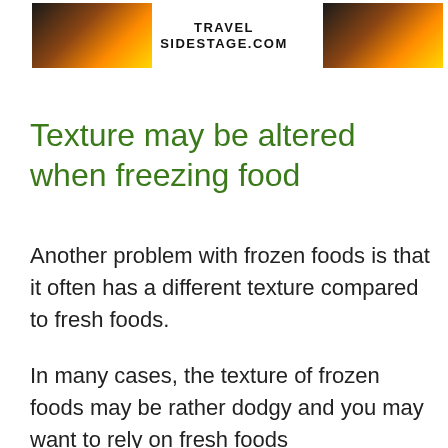TRAVEL SIDESTAGE.COM
Texture may be altered when freezing food
Another problem with frozen foods is that it often has a different texture compared to fresh foods.
In many cases, the texture of frozen foods may be rather dodgy and you may want to rely on fresh foods